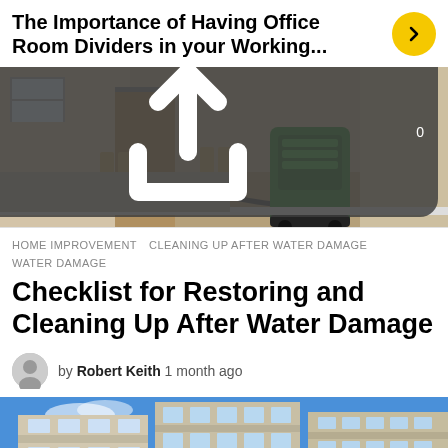The Importance of Having Office Room Dividers in your Working...
[Figure (photo): Workers using industrial vacuum equipment to clean up water damage in a room with carpet and hardwood floor. A green industrial machine is visible.]
17 views, 0 shares
HOME IMPROVEMENT   CLEANING UP AFTER WATER DAMAGE   WATER DAMAGE
Checklist for Restoring and Cleaning Up After Water Damage
by Robert Keith 1 month ago
[Figure (photo): Exterior view of a multi-story apartment or condominium building with balconies against a blue sky.]